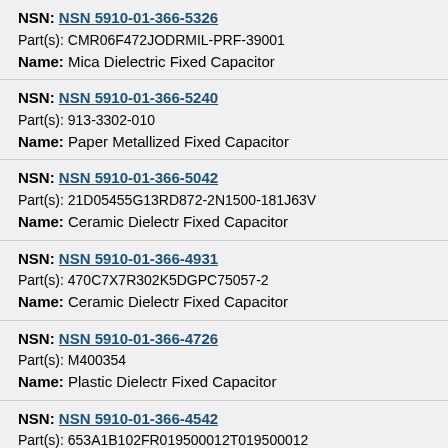NSN: NSN 5910-01-366-5326
Part(s): CMR06F472JODRMIL-PRF-39001
Name: Mica Dielectric Fixed Capacitor
NSN: NSN 5910-01-366-5240
Part(s): 913-3302-010
Name: Paper Metallized Fixed Capacitor
NSN: NSN 5910-01-366-5042
Part(s): 21D05455G13RD872-2N1500-181J63V
Name: Ceramic Dielectr Fixed Capacitor
NSN: NSN 5910-01-366-4931
Part(s): 470C7X7R302K5DGPC75057-2
Name: Ceramic Dielectr Fixed Capacitor
NSN: NSN 5910-01-366-4726
Part(s): M400354
Name: Plastic Dielectr Fixed Capacitor
NSN: NSN 5910-01-366-4542
Part(s): 653A1B102FR019500012T019500012